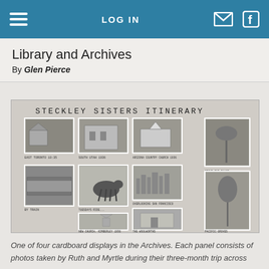LOG IN
Library and Archives
By Glen Pierce
[Figure (photo): Black and white collage of photographs labeled 'STECKLEY SISTERS ITINERARY', showing multiple photos of buildings, horses, a train, landscapes, and street scenes with handwritten captions beneath each photo.]
One of four cardboard displays in the Archives. Each panel consists of photos taken by Ruth and Myrtle during their three-month trip across